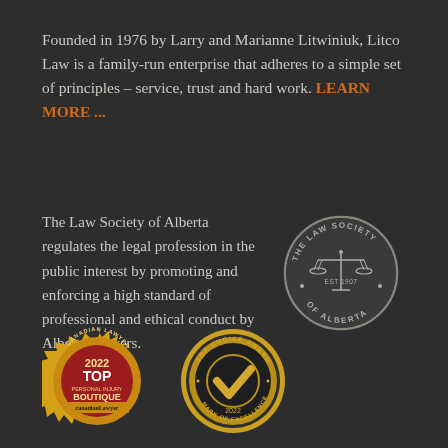Founded in 1976 by Larry and Marianne Litwiniuk, Litco Law is a family-run enterprise that adheres to a simple set of principles – service, trust and hard work. LEARN MORE ...
The Law Society of Alberta regulates the legal profession in the public interest by promoting and enforcing a high standard of professional and ethical conduct by Alberta lawyers.
[Figure (logo): Law Society of Alberta circular seal with scales of justice, EST 1907]
[Figure (logo): Canadian Lawyer Magazine 2022 Top Personal Injury Boutique award badge, gold circular seal]
[Figure (logo): Top Choice Award 2022 Mark of Excellence gold circular badge with checkmark]